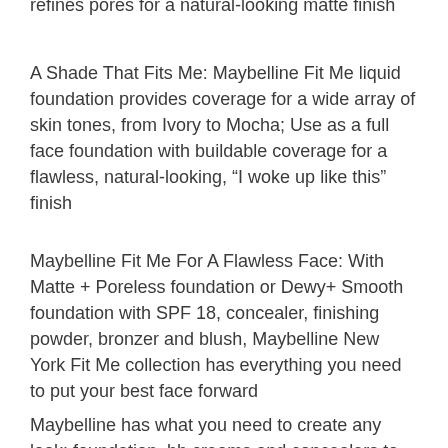refines pores for a natural-looking matte finish
A Shade That Fits Me: Maybelline Fit Me liquid foundation provides coverage for a wide array of skin tones, from Ivory to Mocha; Use as a full face foundation with buildable coverage for a flawless, natural-looking, “I woke up like this” finish
Maybelline Fit Me For A Flawless Face: With Matte + Poreless foundation or Dewy+ Smooth foundation with SPF 18, concealer, finishing powder, bronzer and blush, Maybelline New York Fit Me collection has everything you need to put your best face forward
Maybelline has what you need to create any look: foundation, bb creams and concealers to create a